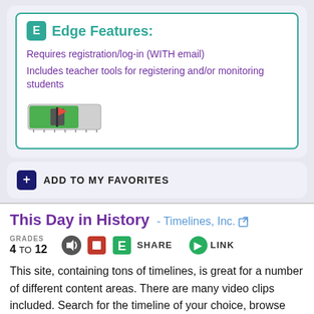Edge Features:
Requires registration/log-in (WITH email)
Includes teacher tools for registering and/or monitoring students
[Figure (other): Progress bar graphic showing a green bar with a flag icon]
ADD TO MY FAVORITES
This Day in History - Timelines, Inc.
GRADES 4 TO 12
This site, containing tons of timelines, is great for a number of different content areas. There are many video clips included. Search for the timeline of your choice, browse topics or people, or play timeline trivia. Topics range from Mark Twain to Women's Suffrage to The Beatles to Lord of the Rings (and countless others). There is a lot of information written in a clear, understandable manner. Plus, the pictures help tell the story of